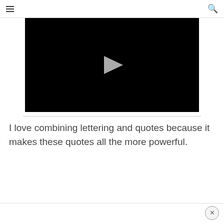☰  🔍
[Figure (screenshot): Black video player with a white/grey play button triangle in the center]
I love combining lettering and quotes because it makes these quotes all the more powerful.